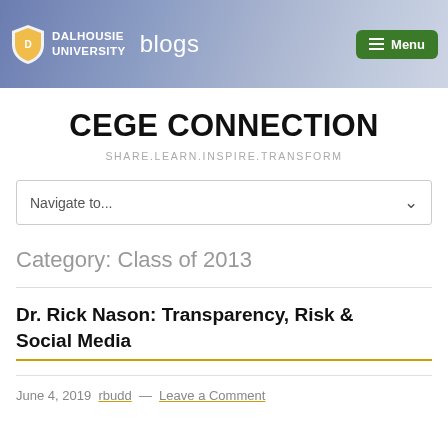DALHOUSIE UNIVERSITY blogs Menu
CEGE CONNECTION
SHARE.LEARN.INSPIRE.TRANSFORM
Navigate to...
Category: Class of 2013
Dr. Rick Nason: Transparency, Risk & Social Media
June 4, 2019 rbudd — Leave a Comment